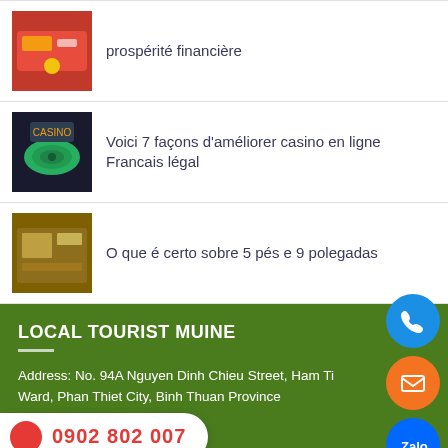prospérité financière
Voici 7 façons d'améliorer casino en ligne Francais légal
O que é certo sobre 5 pés e 9 polegadas
LOCAL TOURIST MUINE
Address: No. 94A Nguyen Dinh Chieu Street, Ham Ti Ward, Phan Thiet City, Binh Thuan Province
Tel: 0902 802 007
Email: ...@gmail.com
Website: localtouristmuine.com